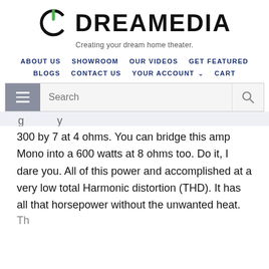[Figure (logo): Dreamedia logo with power button icon and text 'DREAMEDIA' and tagline 'Creating your dream home theater.']
ABOUT US   SHOWROOM   OUR VIDEOS   GET FEATURED   BLOGS   CONTACT US   YOUR ACCOUNT   CART
300 by 7 at 4 ohms. You can bridge this amp Mono into a 600 watts at 8 ohms too. Do it, I dare you. All of this power and accomplished at a very low total Harmonic distortion (THD). It has all that horsepower without the unwanted heat.